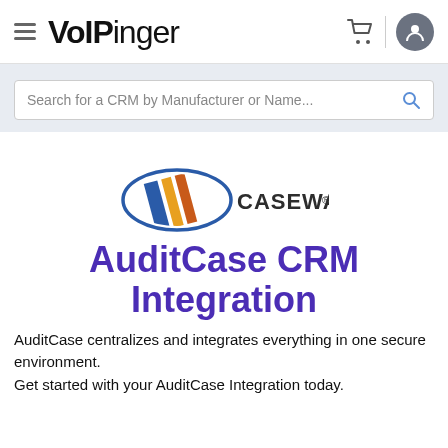VoIPinger
[Figure (logo): CaseWare logo: an elliptical swoosh with blue, yellow, and orange diagonal stripes, followed by the text CASEWARE in dark gray serif/sans capitals with a period/registered mark]
AuditCase CRM Integration
AuditCase centralizes and integrates everything in one secure environment.
Get started with your AuditCase Integration today.